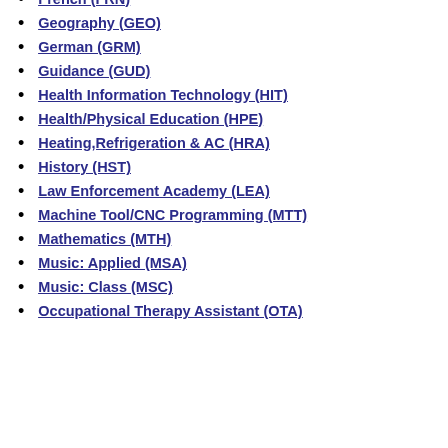French (FRN)
Geography (GEO)
German (GRM)
Guidance (GUD)
Health Information Technology (HIT)
Health/Physical Education (HPE)
Heating,Refrigeration & AC (HRA)
History (HST)
Law Enforcement Academy (LEA)
Machine Tool/CNC Programming (MTT)
Mathematics (MTH)
Music: Applied (MSA)
Music: Class (MSC)
Occupational Therapy Assistant (OTA)